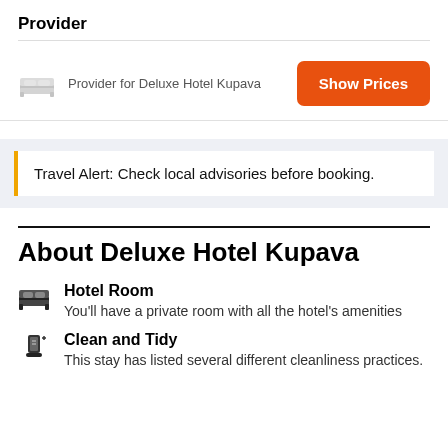Provider
Provider for Deluxe Hotel Kupava
Show Prices
Travel Alert: Check local advisories before booking.
About Deluxe Hotel Kupava
Hotel Room — You'll have a private room with all the hotel's amenities
Clean and Tidy — This stay has listed several different cleanliness practices.